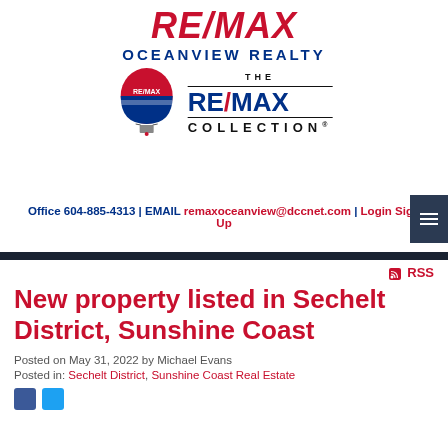[Figure (logo): RE/MAX Oceanview Realty logo with red italic text and blue subtitle]
[Figure (logo): RE/MAX Collection logo with hot air balloon graphic, 'THE RE/MAX COLLECTION' text with horizontal lines]
Office 604-885-4313 | EMAIL remaxoceanview@dccnet.com | Login Sign Up
New property listed in Sechelt District, Sunshine Coast
Posted on May 31, 2022 by Michael Evans
Posted in: Sechelt District, Sunshine Coast Real Estate